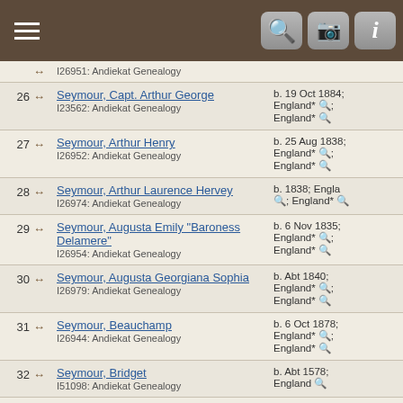Hamburger menu | Search | Camera | Info icons
| # |  | Name / Source | Dates |
| --- | --- | --- | --- |
| 26 | ↔ | Seymour, Capt. Arthur George
I23562: Andiekat Genealogy | b. 19 Oct 1884; England* 🔍; England* 🔍 |
| 27 | ↔ | Seymour, Arthur Henry
I26952: Andiekat Genealogy | b. 25 Aug 1838; England* 🔍; England* 🔍 |
| 28 | ↔ | Seymour, Arthur Laurence Hervey
I26974: Andiekat Genealogy | b. 1838; England 🔍; England* 🔍 |
| 29 | ↔ | Seymour, Augusta Emily "Baroness Delamere"
I26954: Andiekat Genealogy | b. 6 Nov 1835; England* 🔍; England* 🔍 |
| 30 | ↔ | Seymour, Augusta Georgiana Sophia
I26979: Andiekat Genealogy | b. Abt 1840; England* 🔍; England* 🔍 |
| 31 | ↔ | Seymour, Beauchamp
I26944: Andiekat Genealogy | b. 6 Oct 1878; England* 🔍; England* 🔍 |
| 32 | ↔ | Seymour, Bridget
I51098: Andiekat Genealogy | b. Abt 1578; England 🔍 |
| 33 | ↔ | Seymour, Camilla Jane
I26930: Andiekat Genealogy |  |
| 34 | ↔ | Seymour, Carolyn Sarah
I23589: Andiekat Genealogy |  |